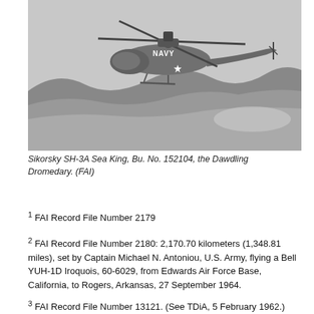[Figure (photo): Black and white aerial photograph of a Sikorsky SH-3A Sea King helicopter marked NAVY in flight over hilly terrain.]
Sikorsky SH-3A Sea King, Bu. No. 152104, the Dawdling Dromedary. (FAI)
1 FAI Record File Number 2179
2 FAI Record File Number 2180: 2,170.70 kilometers (1,348.81 miles), set by Captain Michael N. Antoniou, U.S. Army, flying a Bell YUH-1D Iroquois, 60-6029, from Edwards Air Force Base, California, to Rogers, Arkansas, 27 September 1964.
3 FAI Record File Number 13121. (See TDiA, 5 February 1962.)